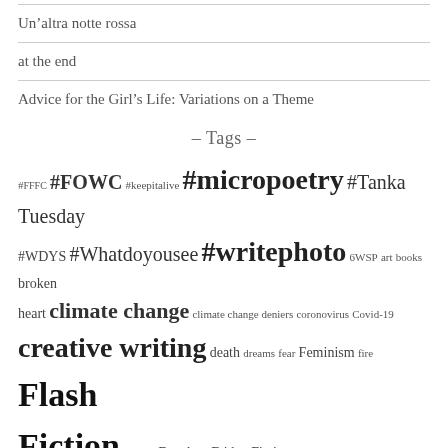Un'altra notte rossa
at the end
Advice for the Girl's Life: Variations on a Theme
- Tags -
#FFFC #FOWC #keepitalive #micropoetry #Tanka Tuesday #WDYS #Whatdoyousee #writephoto 6WSP art books broken heart climate change climate change deniers coronovirus Covid-19 creative writing death dreams fear Feminism fire Flash Fiction FOWC Freedom Friday Fictioners future gun control haiku heart heartbreak History hope jusjojan life love